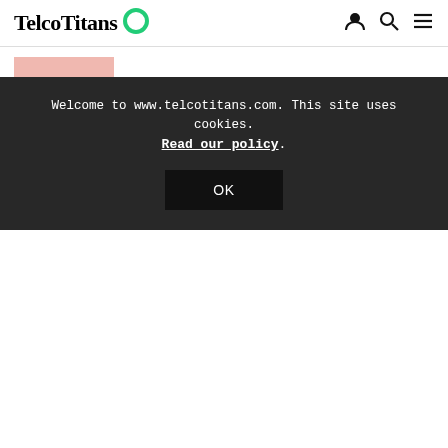TelcoTitans
[Figure (photo): Small thumbnail image with pink/salmon background, partially visible article image]
Vodafone Germany prepares for more exec exits
BT's General Counsel up for Bank of England post
Welcome to www.telcotitans.com. This site uses cookies. Read our policy.
OK